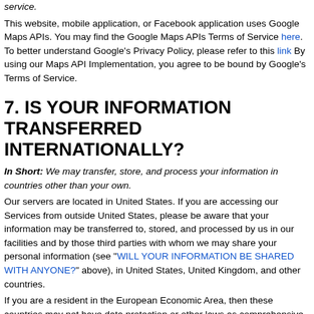service.
This website, mobile application, or Facebook application uses Google Maps APIs. You may find the Google Maps APIs Terms of Service here. To better understand Google's Privacy Policy, please refer to this link By using our Maps API Implementation, you agree to be bound by Google's Terms of Service.
7. IS YOUR INFORMATION TRANSFERRED INTERNATIONALLY?
In Short: We may transfer, store, and process your information in countries other than your own.
Our servers are located in United States. If you are accessing our Services from outside United States, please be aware that your information may be transferred to, stored, and processed by us in our facilities and by those third parties with whom we may share your personal information (see "WILL YOUR INFORMATION BE SHARED WITH ANYONE?" above), in United States, United Kingdom, and other countries.
If you are a resident in the European Economic Area, then these countries may not have data protection or other laws as comprehensive as those in your country. We will however take all necessary measures to protect your personal information in accordance with this privacy policy and applicable law.